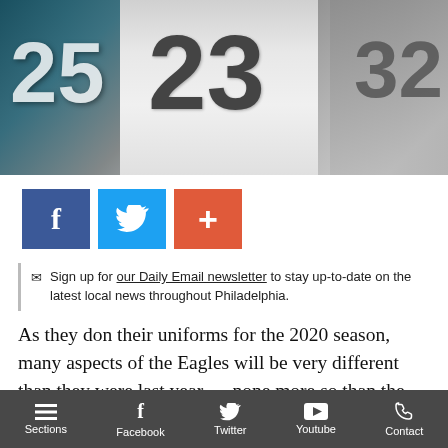[Figure (photo): Philadelphia Eagles players in white jerseys with numbers 25, 23, and 32 visible, posed together against a teal/dark background]
[Figure (infographic): Social sharing buttons: Facebook (blue), Twitter (light blue), and a red plus/share button]
Sign up for our Daily Email newsletter to stay up-to-date on the latest local news throughout Philadelphia.
As they don their uniforms for the 2020 season, many aspects of the Eagles will be very different than they were last year — none more so than the cornerback room. A major liability for the team in 2019, GM Howie Roseman spent big trying to remedy the position
Sections  Facebook  Twitter  Youtube  Contact